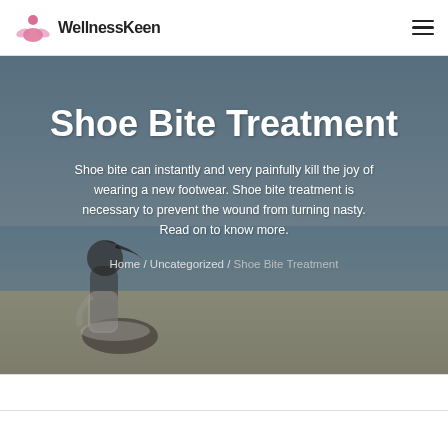WellnessKeen
Shoe Bite Treatment
Shoe bite can instantly and very painfully kill the joy of wearing a new footwear. Shoe bite treatment is necessary to prevent the wound from turning nasty. Read on to know more.
Home / Uncategorized / Shoe Bite Treatment